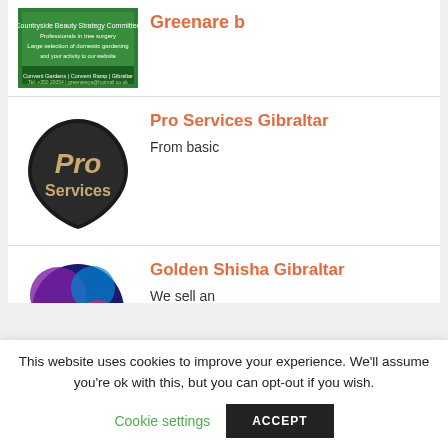[Figure (logo): Greenare b business listing logo - green background with text]
Greenare b
[Figure (logo): Pro Services Gibraltar logo - black guitar pick shape with gold Pro Services text]
Pro Services Gibraltar
From basic
[Figure (logo): Golden Shisha Gibraltar logo - colorful balloon/shisha with golden script text]
Golden Shisha Gibraltar
We sell an
This website uses cookies to improve your experience. We'll assume you're ok with this, but you can opt-out if you wish.
Cookie settings
ACCEPT